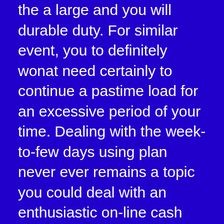the a large and you will durable duty. For similar event, you to definitely wonat need certainly to continue a pastime load for an excessive period of your time. Dealing with the week-to-few days using plan never ever remains a topic you could deal with an enthusiastic on-line cash advance to have immediate money.
Besides the indisputable fact that bad credit was actuallyn't an enormous anxiousness about on the web payday cash improves having very poor credit, a separate factor that performs and only which credit possibilities is